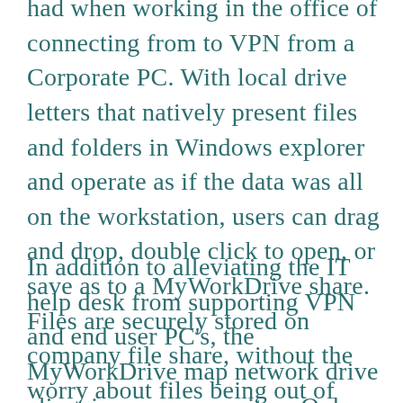had when working in the office of connecting from to VPN from a Corporate PC. With local drive letters that natively present files and folders in Windows explorer and operate as if the data was all on the workstation, users can drag and drop, double click to open, or save as to a MyWorkDrive share. Files are securely stored on company file share, without the worry about files being out of sync or orphaned on remote machines.
In addition to alleviating the IT help desk from supporting VPN and end user PC's, the MyWorkDrive map network drive client improves security – Only port 443/HTTPS is opened to your MyWorkDrive Server with no direct VPN